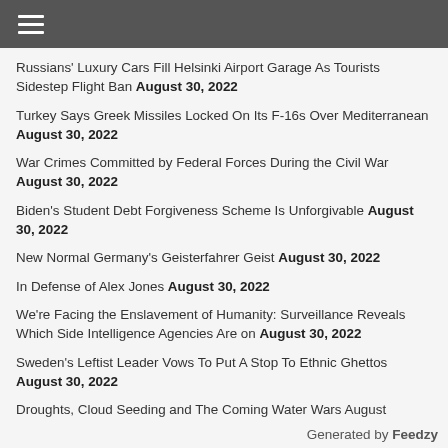≡
Russians' Luxury Cars Fill Helsinki Airport Garage As Tourists Sidestep Flight Ban August 30, 2022
Turkey Says Greek Missiles Locked On Its F-16s Over Mediterranean August 30, 2022
War Crimes Committed by Federal Forces During the Civil War August 30, 2022
Biden's Student Debt Forgiveness Scheme Is Unforgivable August 30, 2022
New Normal Germany's Geisterfahrer Geist August 30, 2022
In Defense of Alex Jones August 30, 2022
We're Facing the Enslavement of Humanity: Surveillance Reveals Which Side Intelligence Agencies Are on August 30, 2022
Sweden's Leftist Leader Vows To Put A Stop To Ethnic Ghettos August 30, 2022
Droughts, Cloud Seeding and The Coming Water Wars August
Generated by Feedzy